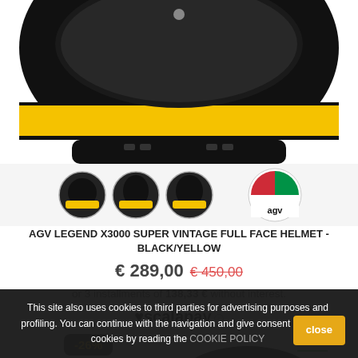[Figure (photo): AGV Legend X3000 Super Vintage full face helmet in black/yellow colorway, top/front view cropped]
[Figure (photo): Three thumbnail views of the AGV helmet (front-left, front, front-right) and AGV brand logo]
AGV LEGEND X3000 SUPER VINTAGE FULL FACE HELMET - BLACK/YELLOW
€ 289,00 € 450,00
or 3 installments of 138,33 € without interest.
[Figure (logo): Scalapay logo with heart icon]
-26%
Sale!
[Figure (photo): Partial view of a second helmet in black/green colorway]
This site also uses cookies to third parties for advertising purposes and profiling. You can continue with the navigation and give consent or disable cookies by reading the COOKIE POLICY